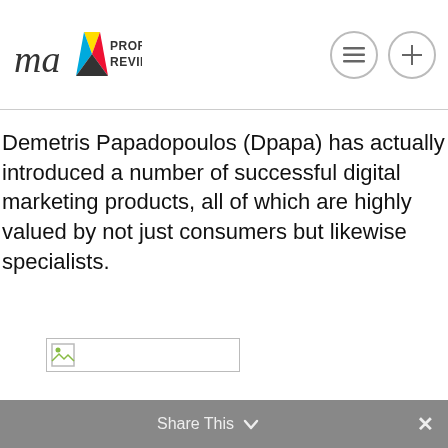max profit reviews
Demetris Papadopoulos (Dpapa) has actually introduced a number of successful digital marketing products, all of which are highly valued by not just consumers but likewise specialists.
[Figure (photo): Broken/missing image placeholder with small image icon]
Share This ✓ ×